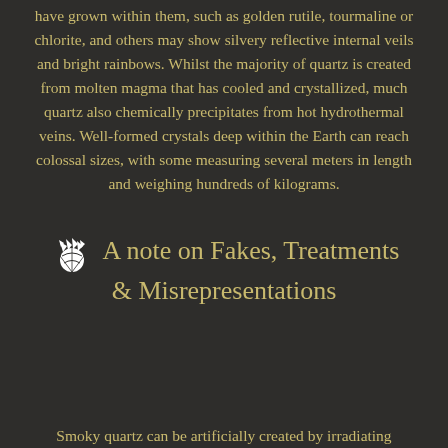have grown within them, such as golden rutile, tourmaline or chlorite, and others may show silvery reflective internal veils and bright rainbows. Whilst the majority of quartz is created from molten magma that has cooled and crystallized, much quartz also chemically precipitates from hot hydrothermal veins. Well-formed crystals deep within the Earth can reach colossal sizes, with some measuring several meters in length and weighing hundreds of kilograms.
A note on Fakes, Treatments & Misrepresentations
Smoky quartz can be artificially created by irradiating